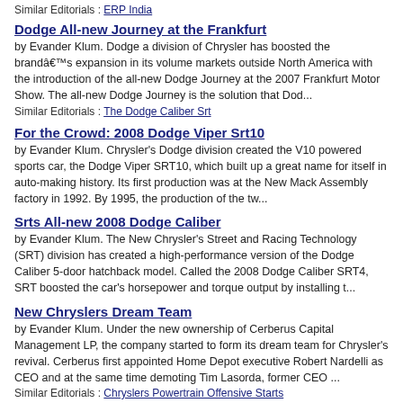Similar Editorials : ERP India
Dodge All-new Journey at the Frankfurt
by Evander Klum. Dodge a division of Chrysler has boosted the brandâ€™s expansion in its volume markets outside North America with the introduction of the all-new Dodge Journey at the 2007 Frankfurt Motor Show. The all-new Dodge Journey is the solution that Dod...
Similar Editorials : The Dodge Caliber Srt
For the Crowd: 2008 Dodge Viper Srt10
by Evander Klum. Chrysler's Dodge division created the V10 powered sports car, the Dodge Viper SRT10, which built up a great name for itself in auto-making history. Its first production was at the New Mack Assembly factory in 1992. By 1995, the production of the tw...
Srts All-new 2008 Dodge Caliber
by Evander Klum. The New Chrysler's Street and Racing Technology (SRT) division has created a high-performance version of the Dodge Caliber 5-door hatchback model. Called the 2008 Dodge Caliber SRT4, SRT boosted the car’s horsepower and torque output by installing t...
New Chryslers Dream Team
by Evander Klum. Under the new ownership of Cerberus Capital Management LP, the company started to form its dream team for Chrysler's revival. Cerberus first appointed Home Depot executive Robert Nardelli as CEO and at the same time demoting Tim Lasorda, former CEO ...
Similar Editorials : Chryslers Powertrain Offensive Starts